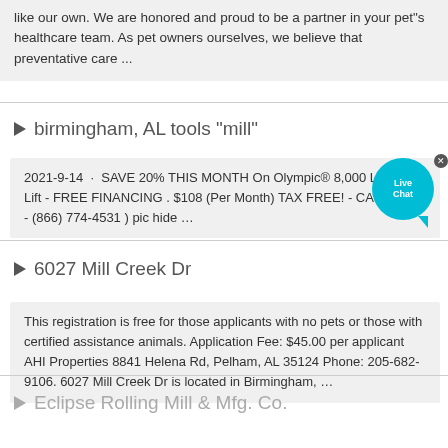like our own. We are honored and proud to be a partner in your pet''s healthcare team. As pet owners ourselves, we believe that preventative care ...
birmingham, AL tools "mill"
2021-9-14  ·  SAVE 20% THIS MONTH On Olympic® 8,000 LB Car Lift - FREE FINANCING . $108 (Per Month) TAX FREE! - CALL NOW - (866) 774-4531 ) pic hide …
6027 Mill Creek Dr
This registration is free for those applicants with no pets or those with certified assistance animals. Application Fee: $45.00 per applicant AHI Properties 8841 Helena Rd, Pelham, AL 35124 Phone: 205-682-9106. 6027 Mill Creek Dr is located in Birmingham, …
Eclipse Rolling Mill & Mfg. Co.